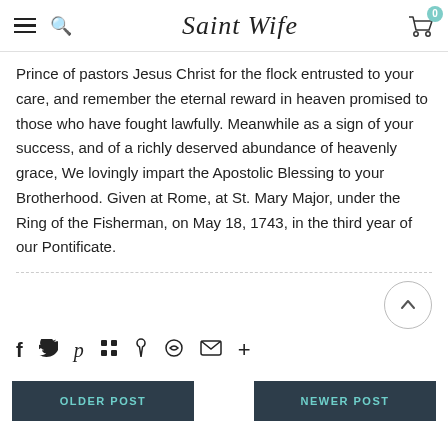Saint Wife
Prince of pastors Jesus Christ for the flock entrusted to your care, and remember the eternal reward in heaven promised to those who have fought lawfully. Meanwhile as a sign of your success, and of a richly deserved abundance of heavenly grace, We lovingly impart the Apostolic Blessing to your Brotherhood. Given at Rome, at St. Mary Major, under the Ring of the Fisherman, on May 18, 1743, in the third year of our Pontificate.
[Figure (other): Social share bar with icons: Facebook, Twitter, Pinterest, Grid/Apps, Bookmark, Heart, Email, Plus]
OLDER POST | NEWER POST